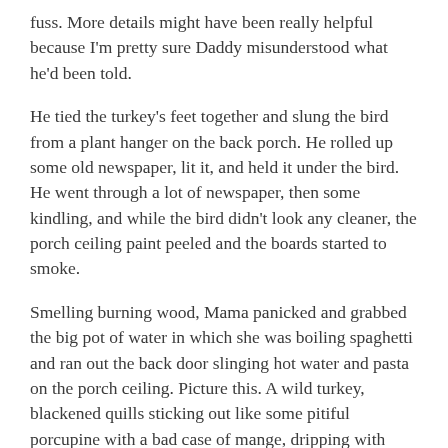fuss. More details might have been really helpful because I'm pretty sure Daddy misunderstood what he'd been told.
He tied the turkey's feet together and slung the bird from a plant hanger on the back porch. He rolled up some old newspaper, lit it, and held it under the bird. He went through a lot of newspaper, then some kindling, and while the bird didn't look any cleaner, the porch ceiling paint peeled and the boards started to smoke.
Smelling burning wood, Mama panicked and grabbed the big pot of water in which she was boiling spaghetti and ran out the back door slinging hot water and pasta on the porch ceiling. Picture this. A wild turkey, blackened quills sticking out like some pitiful porcupine with a bad case of mange, dripping with spaghetti. If that bird had ever possessed any dignity at all, it would have gone up in smoke. It was the saddest bird I'd ever seen and even though it was dead, I felt truly sorry for it.